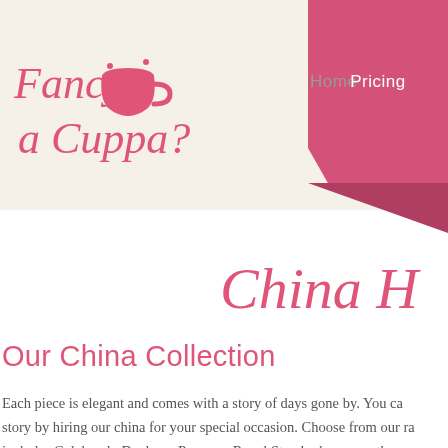[Figure (logo): Fancy a Cuppa? logo with teacup icon in pink cursive script on cream background]
Home   Pricing
China H…
Our China Collection
Each piece is elegant and comes with a story of days gone by. You can story by hiring our china for your special occasion. Choose from our ra includes Colclough, Duchess, Paragon, Royal Standard among others.